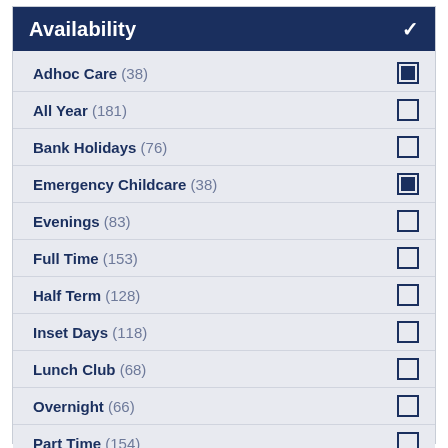Availability
Adhoc Care (38) — checked
All Year (181) — unchecked
Bank Holidays (76) — unchecked
Emergency Childcare (38) — checked
Evenings (83) — unchecked
Full Time (153) — unchecked
Half Term (128) — unchecked
Inset Days (118) — unchecked
Lunch Club (68) — unchecked
Overnight (66) — unchecked
Part Time (154) — unchecked
School Holidays (154) — unchecked